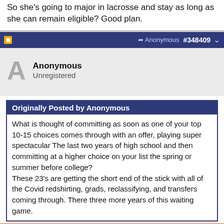So she's going to major in lacrosse and stay as long as she can remain eligible? Good plan.
Anonymous #348409
Anonymous
Unregistered
Originally Posted by Anonymous
What is thought of committing as soon as one of your top 10-15 choices comes through with an offer, playing super spectacular The last two years of high school and then committing at a higher choice on your list the spring or summer before college?
These 23's are getting the short end of the stick with all of the Covid redshirting, grads, reclassifying, and transfers coming through. There three more years of this waiting game.
[Figure (other): Sam's Club advertisement for Tide detergent: IT'S OUR HOME. LET'S PROTECT IT TOGETHER. Wash in cold. Save up to $150 a year*. SHOP NOW button.]